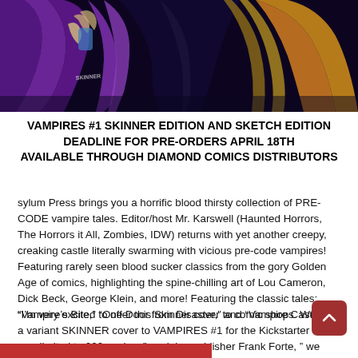[Figure (illustration): Comic book art showing vampire/horror characters in purple, orange and gold tones. Characters include cloaked figures with claws and dramatic coloring. The word SKINNER is visible.]
VAMPIRES #1 SKINNER EDITION AND SKETCH EDITION DEADLINE FOR PRE-ORDERS APRIL 18TH AVAILABLE THROUGH DIAMOND COMICS DISTRIBUTORS
sylum Press brings you a horrific blood thirsty collection of PRE-CODE vampire tales. Editor/host Mr. Karswell (Haunted Horrors, The Horrors it All, Zombies, IDW) returns with yet another creepy, creaking castle literally swarming with vicious pre-code vampires! Featuring rarely seen blood sucker classics from the gory Golden Age of comics, highlighting the spine-chilling art of Lou Cameron, Dick Beck, George Klein, and more! Featuring the classic tales: “Vampire’s Bite,” “One Door from Disaster,” and “Vampire Castle.”
“I’m very excited to offer this Skinner cover to comic shops. We did a variant SKINNER cover to VAMPIRES #1 for the Kickstarter that was limited to 200 copies, ” explains publisher Frank Forte, “ we wanted to